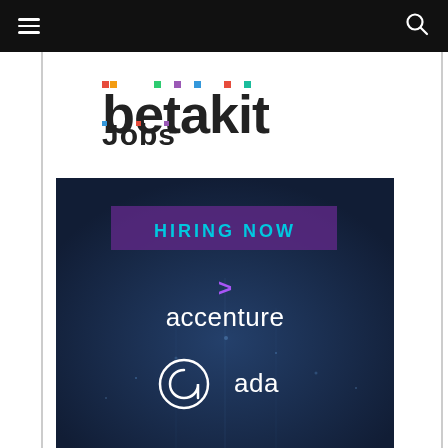[Figure (screenshot): Navigation bar with hamburger menu icon on left and search icon on right, black background]
[Figure (logo): BetaKit Jobs logo in colorful pixel/digital font style]
[Figure (infographic): Hiring Now banner with Accenture and Ada company logos on dark blue city background]